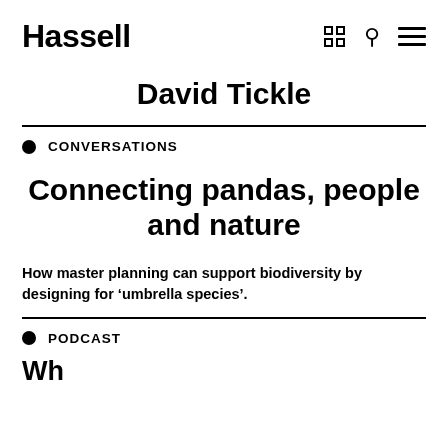Hassell
David Tickle
CONVERSATIONS
Connecting pandas, people and nature
How master planning can support biodiversity by designing for ‘umbrella species’.
PODCAST